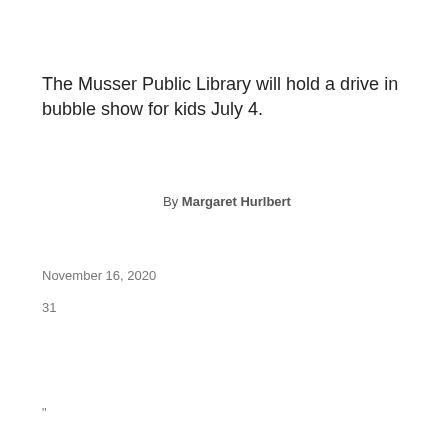The Musser Public Library will hold a drive in bubble show for kids July 4.
By Margaret Hurlbert
November 16, 2020
31
"